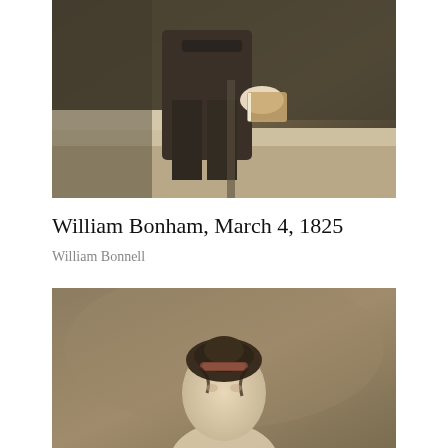[Figure (photo): Partial view of a figure in dark clothing holding a book or object, standing near stairs, painted in dark brownish tones in a classical portrait style.]
William Bonham, March 4, 1825
William Bonnell
[Figure (photo): Partial view of a woman's head with dark hair in an updo, wearing a dark headband or ornament, painted in warm brownish tones in a classical portrait style.]